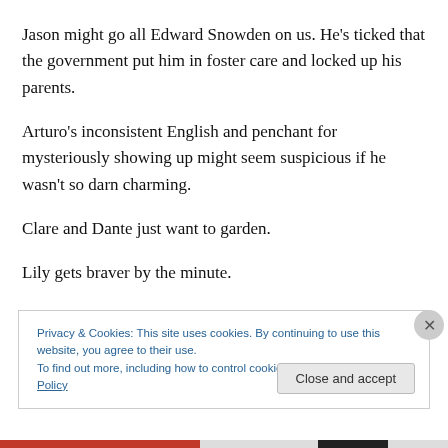Jason might go all Edward Snowden on us. He's ticked that the government put him in foster care and locked up his parents.
Arturo's inconsistent English and penchant for mysteriously showing up might seem suspicious if he wasn't so darn charming.
Clare and Dante just want to garden.
Lily gets braver by the minute.
Privacy & Cookies: This site uses cookies. By continuing to use this website, you agree to their use.
To find out more, including how to control cookies, see here: Cookie Policy